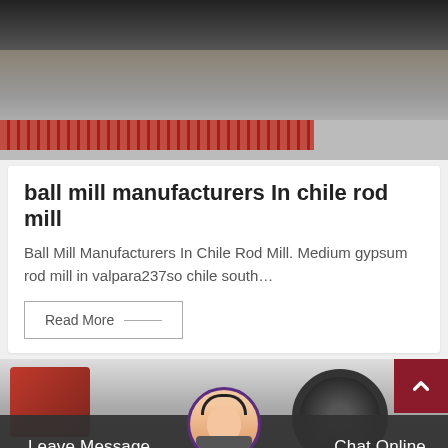[Figure (photo): Industrial machinery photo showing red/dark equipment on a factory floor with a red serrated strip in the foreground]
ball mill manufacturers In chile rod mill
Ball Mill Manufacturers In Chile Rod Mill. Medium gypsum rod mill in valpara237so chile south…
Read More
[Figure (photo): Industrial mill machinery photo showing red equipment and a large dark wheel/drum]
Leave Message
Chat Online